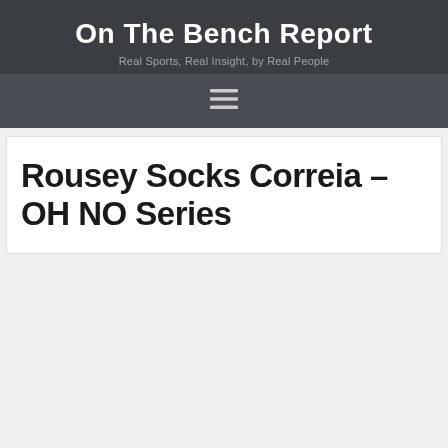On The Bench Report
Real Sports, Real Insight, by Real People
[Figure (other): Hamburger menu icon (three horizontal lines)]
Rousey Socks Correia – OH NO Series